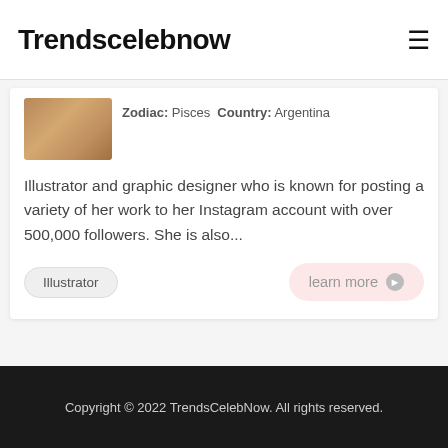Trendscelebnow
Zodiac: Pisces Country: Argentina
Illustrator and graphic designer who is known for posting a variety of her work to her Instagram account with over 500,000 followers. She is also...
Illustrator
learn more
Copyright © 2022 TrendsCelebNow. All rights reserved.